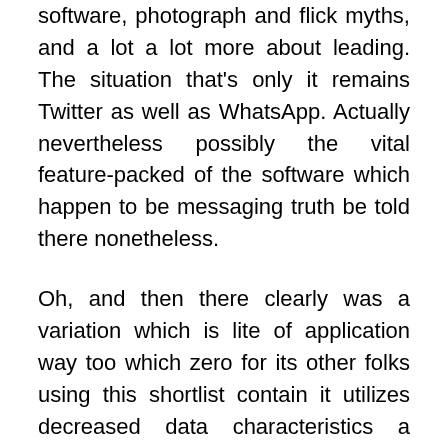software, photograph and flick myths, and a lot a lot more about leading. The situation that's only it remains Twitter as well as WhatsApp. Actually nevertheless possibly the vital feature-packed of the software which happen to be messaging truth be told there nonetheless.
Oh, and then there clearly was a variation which is lite of application way too which zero for its other folks using this shortlist contain it utilizes decreased data characteristics a much littler software affect.
Ideally those types of choice floods the gap kept from the Kik that will be outward bound Messenger. If not, you can wait